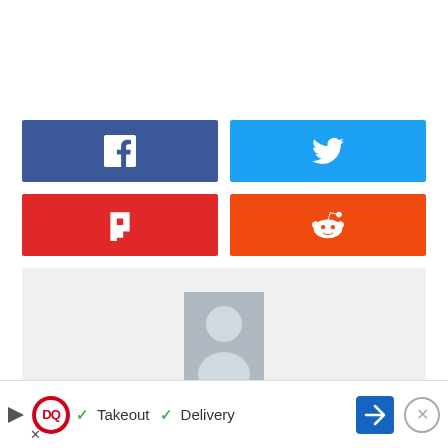[Figure (infographic): Four social media share buttons in a 2x2 grid: Facebook (blue), Twitter (light blue), Flipboard (red), Reddit (orange-red)]
[Figure (photo): Grey author avatar placeholder box with silhouette of a person]
[Figure (infographic): Advertisement bar at the bottom: Dairy Queen logo, checkmarks with Takeout and Delivery text, navigation arrow button, close button]